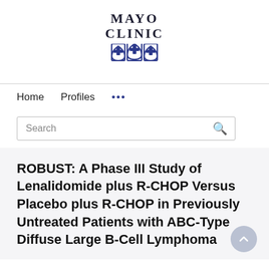[Figure (logo): Mayo Clinic logo with stylized shield/torch icons and text 'MAYO CLINIC' in serif font]
Home   Profiles   ...
Search
ROBUST: A Phase III Study of Lenalidomide plus R-CHOP Versus Placebo plus R-CHOP in Previously Untreated Patients with ABC-Type Diffuse Large B-Cell Lymphoma